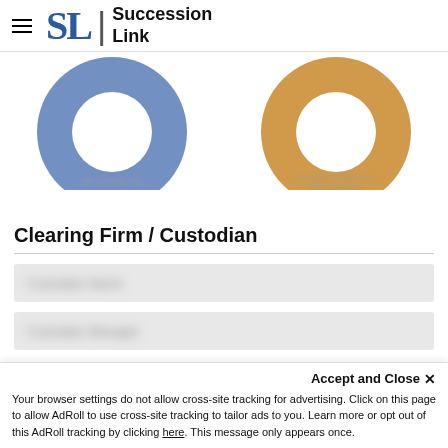SL | Succession Link
[Figure (donut-chart): Partially visible blue donut chart, left side, labels blurred]
[Figure (donut-chart): Partially visible gold/amber donut chart, right side, labels blurred]
Clearing Firm / Custodian
[blurred field 1]
[blurred field 2]
Accept and Close ×
Your browser settings do not allow cross-site tracking for advertising. Click on this page to allow AdRoll to use cross-site tracking to tailor ads to you. Learn more or opt out of this AdRoll tracking by clicking here. This message only appears once.